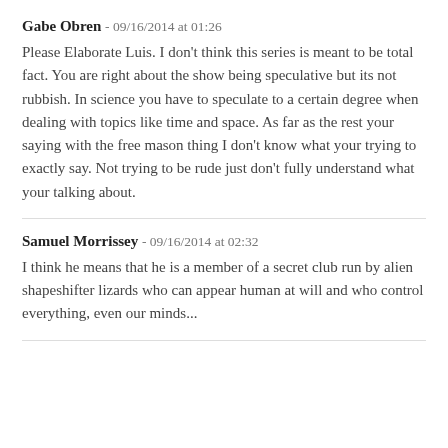Gabe Obren - 09/16/2014 at 01:26
Please Elaborate Luis. I don't think this series is meant to be total fact. You are right about the show being speculative but its not rubbish. In science you have to speculate to a certain degree when dealing with topics like time and space. As far as the rest your saying with the free mason thing I don't know what your trying to exactly say. Not trying to be rude just don't fully understand what your talking about.
Samuel Morrissey - 09/16/2014 at 02:32
I think he means that he is a member of a secret club run by alien shapeshifter lizards who can appear human at will and who control everything, even our minds...